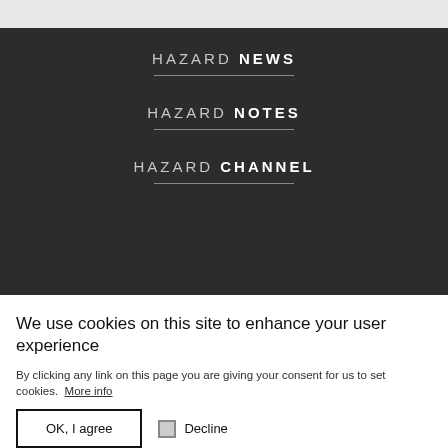HAZARD NEWS
HAZARD NOTES
HAZARD CHANNEL
FREE AUSTRALIA
We use cookies on this site to enhance your user experience
By clicking any link on this page you are giving your consent for us to set cookies.  More info
OK, I agree  Decline